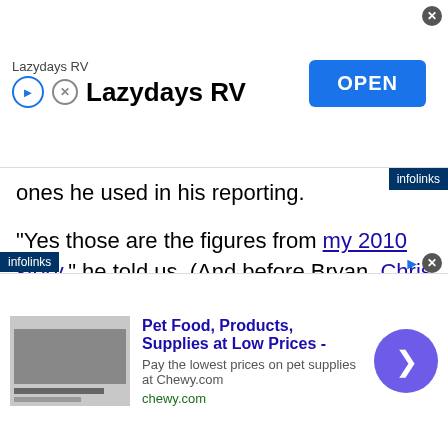[Figure (screenshot): Top advertisement banner for Lazydays RV with play icon, brand name, and OPEN button]
ones he used in his reporting.
“Yes those are the figures from my 2010 story,” he told us. (And before Bryan, Chris Owen had been writing about many earlier years of COSRECI tax records.)
In Bryan’s 2010 story, he explained that Scientology doesn’t have tax-exempt status in the UK, but COSRECI gets around that by being originally registered in Australia — to an address,
[Figure (screenshot): Bottom advertisement banner for Chewy.com pet food and supplies]